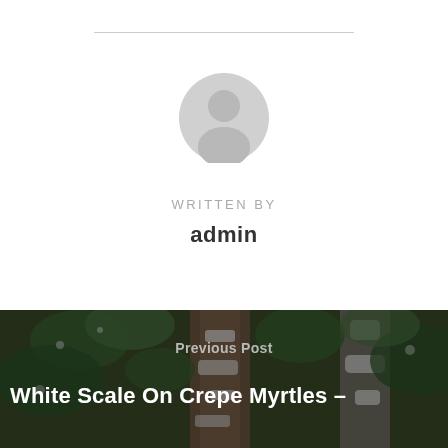[Figure (illustration): Generic user avatar placeholder icon — a grey silhouette of a person (head and shoulders) on white background]
WRITTEN BY
admin
[Figure (photo): Photograph of crepe myrtle tree branches with green leaves and white scale insect infestation on the bark, dark background with foliage]
Previous Post
White Scale On Crepe Myrtles –